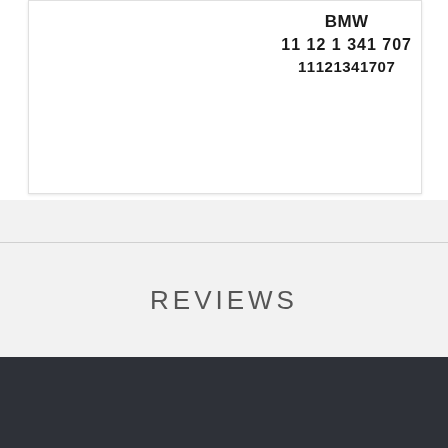BMW
11 12 1 341 707
11121341707
REVIEWS
WRITE A REVIEW
This website uses cookies. By continuing to use this site you agree to our use of cookies. Learn More.
Accept